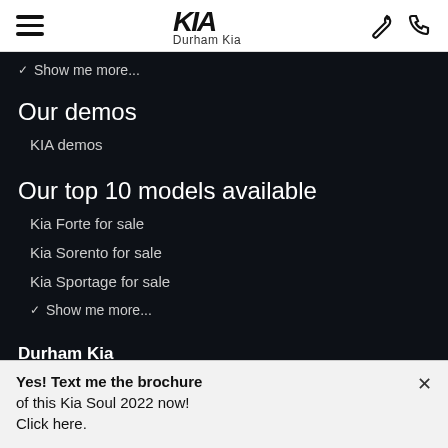Durham Kia
Show me more...
Our demos
KIA demos
Our top 10 models available
Kia Forte for sale
Kia Sorento for sale
Kia Sportage for sale
Show me more...
Durham Kia
550 Taunton Road W.
Yes! Text me the brochure of this Kia Soul 2022 now! Click here.